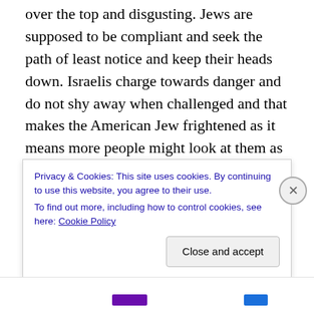over the top and disgusting. Jews are supposed to be compliant and seek the path of least notice and keep their heads down. Israelis charge towards danger and do not shy away when challenged and that makes the American Jew frightened as it means more people might look at them as well and that is the most frightening thing. One thing for sure, they will likely not see what is coming and coming fast until it is too late, but at least this time the doors to Eretz Yisroel are in Jewish hands, not British; so these doors will remain open for there are two things
Privacy & Cookies: This site uses cookies. By continuing to use this website, you agree to their use.
To find out more, including how to control cookies, see here: Cookie Policy
Close and accept